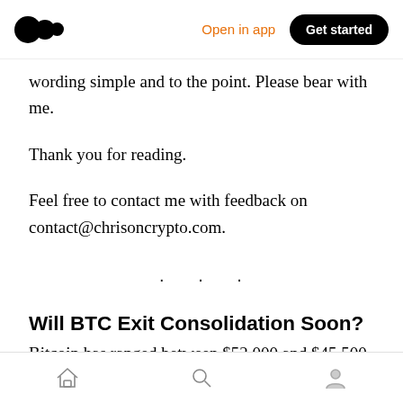Medium app header with logo, Open in app, Get started
wording simple and to the point. Please bear with me.
Thank you for reading.
Feel free to contact me with feedback on contact@chrisoncrypto.com.
· · ·
Will BTC Exit Consolidation Soon?
Bitcoin has ranged between $52,000 and $45,500 since the last bitcoin-market analysis sent out on
Home | Search | Profile